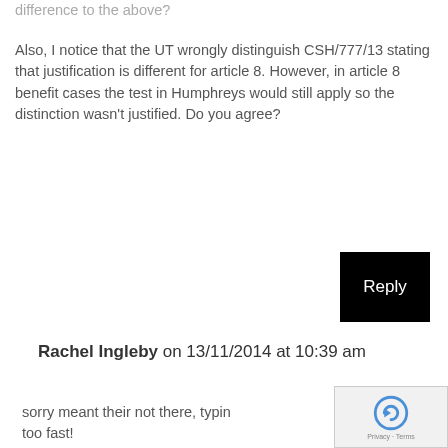difference to the above?
Also, I notice that the UT wrongly distinguish CSH/777/13 stating that justification is different for article 8. However, in article 8 benefit cases the test in Humphreys would still apply so the distinction wasn't justified. Do you agree?
Reply
Rachel Ingleby on 13/11/2014 at 10:39 am
sorry meant their not there, typing too fast!